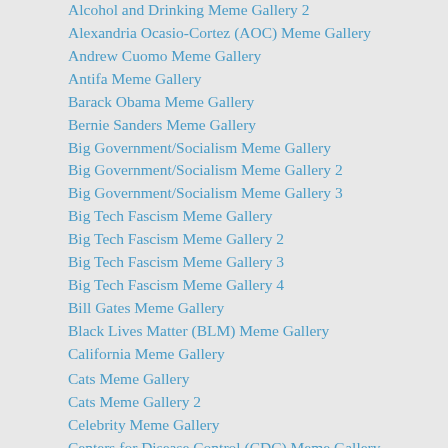Alcohol and Drinking Meme Gallery 2
Alexandria Ocasio-Cortez (AOC) Meme Gallery
Andrew Cuomo Meme Gallery
Antifa Meme Gallery
Barack Obama Meme Gallery
Bernie Sanders Meme Gallery
Big Government/Socialism Meme Gallery
Big Government/Socialism Meme Gallery 2
Big Government/Socialism Meme Gallery 3
Big Tech Fascism Meme Gallery
Big Tech Fascism Meme Gallery 2
Big Tech Fascism Meme Gallery 3
Big Tech Fascism Meme Gallery 4
Bill Gates Meme Gallery
Black Lives Matter (BLM) Meme Gallery
California Meme Gallery
Cats Meme Gallery
Cats Meme Gallery 2
Celebrity Meme Gallery
Centers for Disease Control (CDC) Meme Gallery
China Meme Gallery